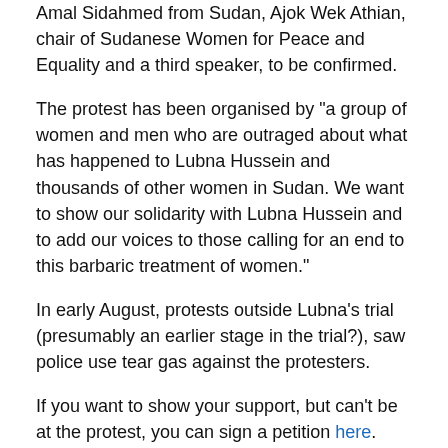Amal Sidahmed from Sudan, Ajok Wek Athian, chair of Sudanese Women for Peace and Equality and a third speaker, to be confirmed.
The protest has been organised by "a group of women and men who are outraged about what has happened to Lubna Hussein and thousands of other women in Sudan. We want to show our solidarity with Lubna Hussein and to add our voices to those calling for an end to this barbaric treatment of women."
In early August, protests outside Lubna's trial (presumably an earlier stage in the trial?), saw police use tear gas against the protesters.
If you want to show your support, but can't be at the protest, you can sign a petition here.
The organisers are also asking people to write to your MP, the Ambassador for Sudan, Omer Mohamed Siddigand and Foreign Secretary David Miliband, asking them to:
condemn the whipping and punishment of women